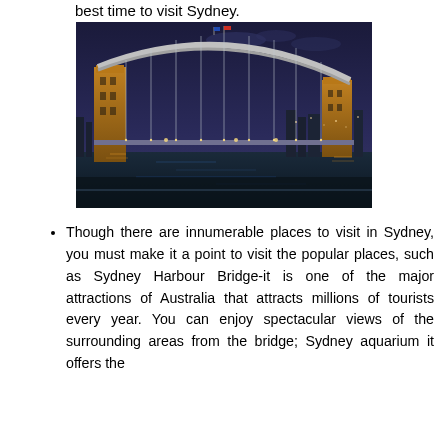best time to visit Sydney.
[Figure (photo): Night photograph of Sydney Harbour Bridge illuminated with lights, with city skyline and water reflections in the background.]
Though there are innumerable places to visit in Sydney, you must make it a point to visit the popular places, such as Sydney Harbour Bridge-it is one of the major attractions of Australia that attracts millions of tourists every year. You can enjoy spectacular views of the surrounding areas from the bridge; Sydney aquarium it offers the